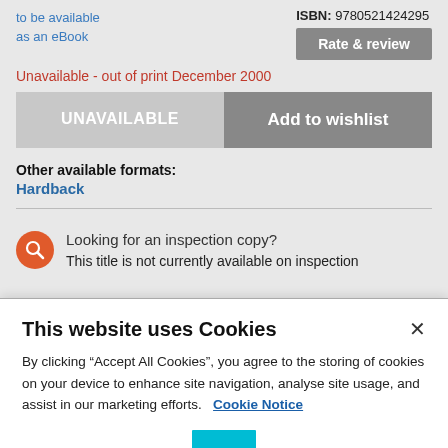to be available as an eBook
ISBN: 9780521424295
Rate & review
Unavailable - out of print December 2000
UNAVAILABLE
Add to wishlist
Other available formats:
Hardback
Looking for an inspection copy?
This title is not currently available on inspection
This website uses Cookies
By clicking “Accept All Cookies”, you agree to the storing of cookies on your device to enhance site navigation, analyse site usage, and assist in our marketing efforts.   Cookie Notice